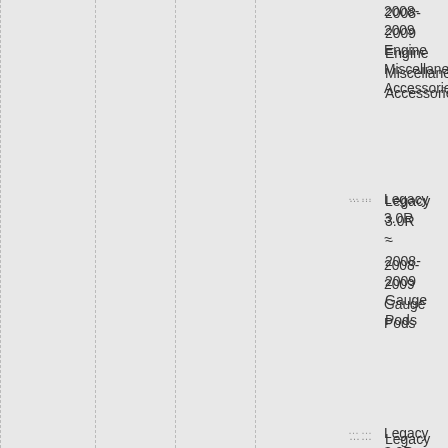2008-2009 Engine Miscellaneous Accessories Legacy 3.0R ~ 2008-2009
Gauge Pods Legacy 3.0R ~ 2008-2009
Hub Adaptors Legacy 3.0R ~ 2008-2009
Mud Flaps Legacy 3.0R ~ 2008-2009
Oil